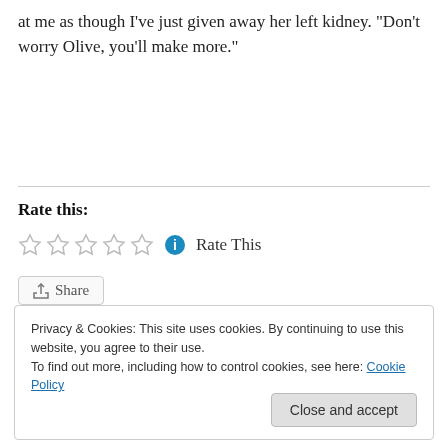at me as though I've just given away her left kidney. “Don’t worry Olive, you’ll make more.”
Rate this:
Rate This
Share
Privacy & Cookies: This site uses cookies. By continuing to use this website, you agree to their use.
To find out more, including how to control cookies, see here: Cookie Policy
Close and accept